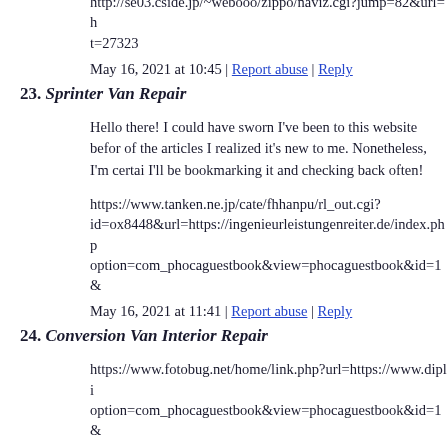http://se03.cside.jp/~webooo/zippo/naviz.cgi?jump=82&url=h
t=27323
May 16, 2021 at 10:45 | Report abuse | Reply
23. Sprinter Van Repair
Hello there! I could have sworn I've been to this website befor of the articles I realized it's new to me. Nonetheless, I'm certai I'll be bookmarking it and checking back often!
https://www.tanken.ne.jp/cate/fhhanpu/rl_out.cgi?id=ox8448&url=https://ingenieurleistungenreiter.de/index.php option=com_phocaguestbook&view=phocaguestbook&id=1&
May 16, 2021 at 11:41 | Report abuse | Reply
24. Conversion Van Interior Repair
https://www.fotobug.net/home/link.php?url=https://www.dipli option=com_phocaguestbook&view=phocaguestbook&id=1&
May 16, 2021 at 11:45 | Report abuse | Reply
25. avanafil
avanafil dose avana tablet
May 16, 2021 at 12:35 | Report abuse | Reply